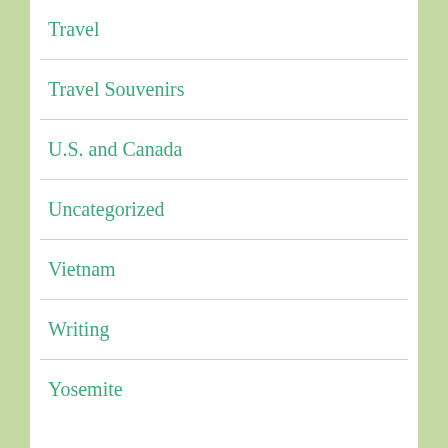Travel
Travel Souvenirs
U.S. and Canada
Uncategorized
Vietnam
Writing
Yosemite
Search